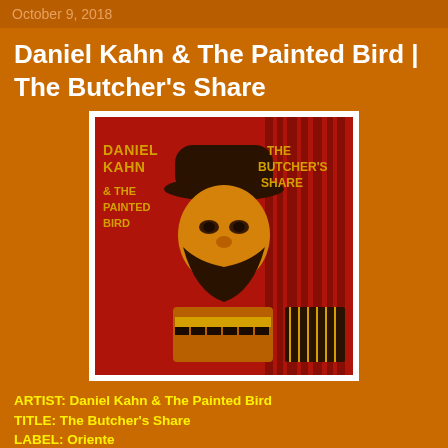October 9, 2018
Daniel Kahn & The Painted Bird | The Butcher's Share
[Figure (illustration): Album cover art for Daniel Kahn & The Painted Bird - The Butcher's Share. Red and black woodcut-style illustration of a bearded man wearing a hat and playing an accordion. Yellow text on left reads 'DANIEL KAHN & THE PAINTED BIRD' and on right reads 'THE BUTCHER'S SHARE'.]
ARTIST: Daniel Kahn & The Painted Bird
TITLE: The Butcher's Share
LABEL: Oriente